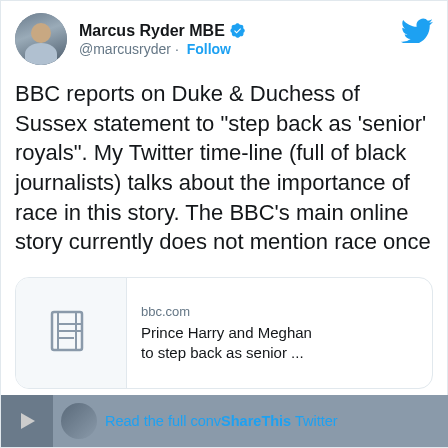[Figure (screenshot): Twitter/X profile header with avatar of Marcus Ryder MBE, verified blue checkmark badge, @marcusryder handle with Follow button, and Twitter bird icon in top right]
BBC reports on Duke & Duchess of Sussex statement to "step back as 'senior' royals". My Twitter time-line (full of black journalists) talks about the importance of race in this story. The BBC's main online story currently does not mention race once
[Figure (screenshot): Link preview card showing bbc.com article: 'Prince Harry and Meghan to step back as senior ...' with newspaper icon thumbnail]
7:11 AM · Jan 9, 2020
Read the full convShareThis Twitter